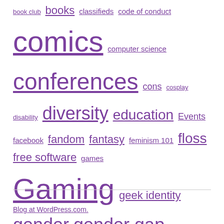book club books classifieds code of conduct comics computer science conferences cons cosplay disability diversity education Events facebook fandom fantasy feminism 101 floss free software games Gaming geek identity gender gender gap girls girls learning tech Google guest post harassment hiring history impostor syndrome intersectionality invisibility Linkspam mathematics Media fandom mentoring meritocracy meta misogyny movies music Open source open thread physics privilege programming python race racism rape rape culture research science science fiction sexism SF fandom stereotyping Tech industry ubuntu video violence against women wednesday geek woman wikipedia women in engineering women in science women in tech
Blog at WordPress.com.